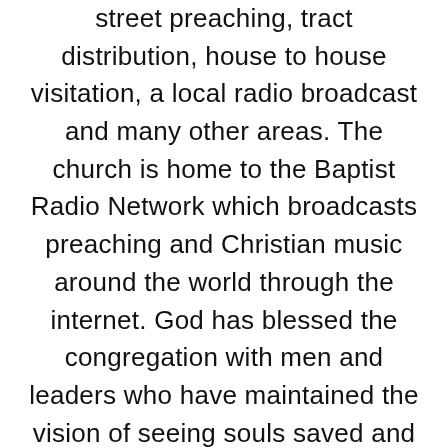street preaching, tract distribution, house to house visitation, a local radio broadcast and many other areas. The church is home to the Baptist Radio Network which broadcasts preaching and Christian music around the world through the internet. God has blessed the congregation with men and leaders who have maintained the vision of seeing souls saved and lives changed through the presentation of the gospel as presented in the Authorized King James Bible. As we celebrate the 75th Anniversary of Spring City Baptist Church and the 400th Anniversary of the King James Bible, there is a renewed